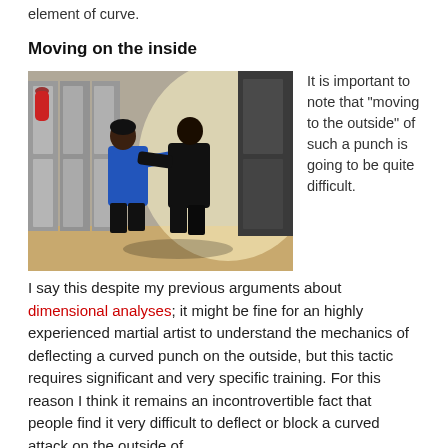element of curve.
Moving on the inside
[Figure (photo): Two martial artists in a gym/dojo; one in blue shirt and one in black, engaged in close-range grappling or punching drill near lockers]
It is important to note that "moving to the outside" of such a punch is going to be quite difficult. I say this despite my previous arguments about dimensional analyses; it might be fine for an highly experienced martial artist to understand the mechanics of deflecting a curved punch on the outside, but this tactic requires significant and very specific training. For this reason I think it remains an incontrovertible fact that people find it very difficult to deflect or block a curved attack on the outside of